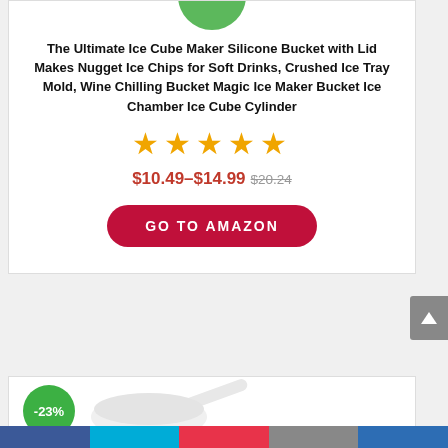[Figure (photo): Partial green circle/ball product image at top of card]
The Ultimate Ice Cube Maker Silicone Bucket with Lid Makes Nugget Ice Chips for Soft Drinks, Crushed Ice Tray Mold, Wine Chilling Bucket Magic Ice Maker Bucket Ice Chamber Ice Cube Cylinder
★★★★★
$10.49–$14.99 $20.24
GO TO AMAZON
[Figure (photo): Second product card with -23% green badge and white scoop image]
Bottom navigation bar with social/share icons